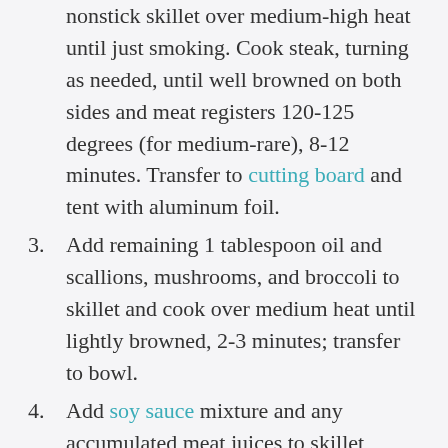nonstick skillet over medium-high heat until just smoking. Cook steak, turning as needed, until well browned on both sides and meat registers 120-125 degrees (for medium-rare), 8-12 minutes. Transfer to cutting board and tent with aluminum foil.
3. Add remaining 1 tablespoon oil and scallions, mushrooms, and broccoli to skillet and cook over medium heat until lightly browned, 2-3 minutes; transfer to bowl.
4. Add soy sauce mixture and any accumulated meat juices to skillet